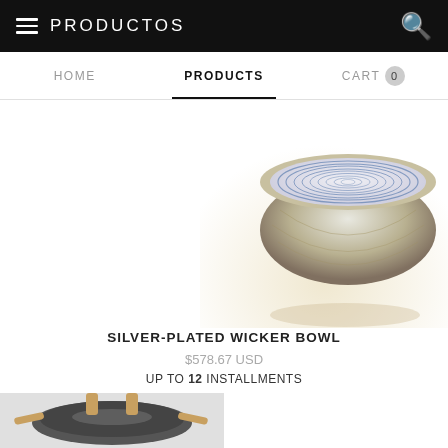PRODUCTOS
HOME  PRODUCTS  CART 0
[Figure (photo): Close-up photo of a silver-plated wicker bowl with blue and white spiral pattern interior, viewed from above at an angle, on a white/cream surface.]
SILVER-PLATED WICKER BOWL
$578.67 USD
UP TO 12 INSTALLMENTS
[Figure (photo): Top-down view of a dark wok/pan with wooden handles on a white surface.]
[Figure (photo): Close-up of green marble-like surface with wooden/metal objects, Argentina flag badge overlay, and WhatsApp button.]